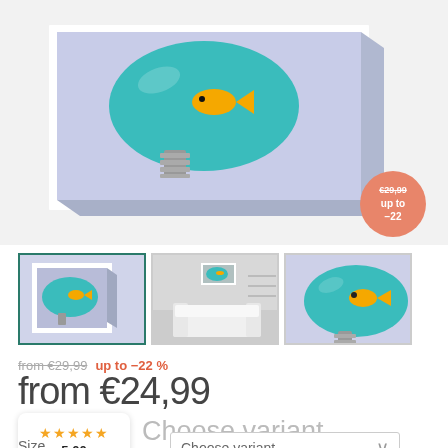[Figure (illustration): Canvas print product showing a goldfish inside a teal/turquoise light bulb on a purple background, displayed as a framed canvas with 3D side effect. A salmon/coral discount badge in lower right shows €29,99 strikethrough and 'up to -22'.]
[Figure (photo): Three product thumbnails: first shows the canvas print of goldfish in lightbulb (active/selected with teal border), second shows room mockup with white sofa and the print on wall, third shows close-up of the goldfish lightbulb artwork.]
from €29,99  up to -22 %
from €24,99
★★★★★  5.00
Choose variant
Size
Choose variant